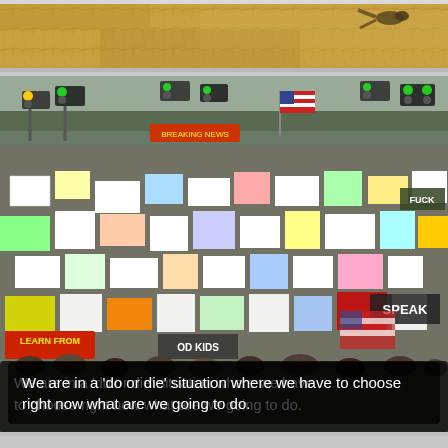[Figure (photo): Top photograph showing an outdoor scene with golden/brown ground covering, possibly leaves or hay, with a bird visible in the upper right area.]
[Figure (photo): Large photograph of a protest march on a city street with crowds of people holding signs and banners. Traffic lights, street signs, and an American flag are visible. Signs include text like 'FUCK', 'SPEAK', 'LEARN FROM', 'OD KIDS'. At the bottom of the photo is a text overlay caption.]
We are in a ‘do or die’ situation where we have to choose right now what are we going to do.